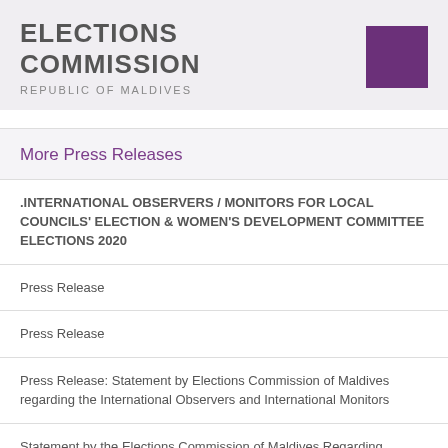ELECTIONS COMMISSION
REPUBLIC OF MALDIVES
More Press Releases
.INTERNATIONAL OBSERVERS / MONITORS FOR LOCAL COUNCILS' ELECTION & WOMEN'S DEVELOPMENT COMMITTEE ELECTIONS 2020
Press Release
Press Release
Press Release: Statement by Elections Commission of Maldives regarding the International Observers and International Monitors
Statement by the Elections Commission of Maldives Regarding Procedures for Vote Counting at Polling Stations
Press Release: Statement by the Elections Commission of Maldives Regarding Elections Commission Employees